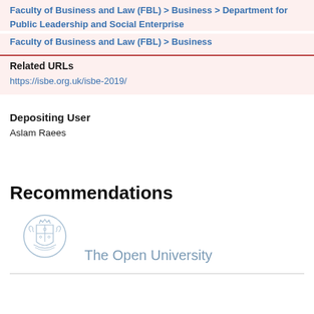Faculty of Business and Law (FBL) > Business > Department for Public Leadership and Social Enterprise
Faculty of Business and Law (FBL) > Business
Related URLs
https://isbe.org.uk/isbe-2019/
Depositing User
Aslam Raees
Recommendations
[Figure (logo): The Open University crest/coat of arms logo in light blue-grey, followed by the text 'The Open University']